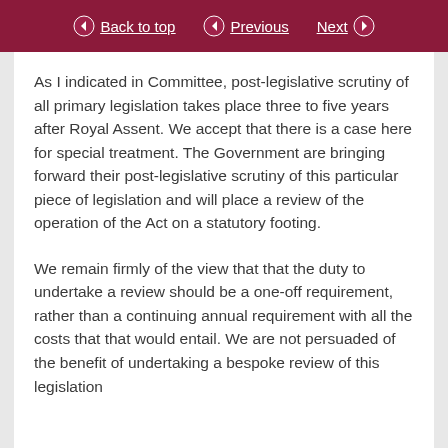Back to top  Previous  Next
As I indicated in Committee, post-legislative scrutiny of all primary legislation takes place three to five years after Royal Assent. We accept that there is a case here for special treatment. The Government are bringing forward their post-legislative scrutiny of this particular piece of legislation and will place a review of the operation of the Act on a statutory footing.
We remain firmly of the view that that the duty to undertake a review should be a one-off requirement, rather than a continuing annual requirement with all the costs that that would entail. We are not persuaded of the benefit of undertaking a bespoke review of this legislation